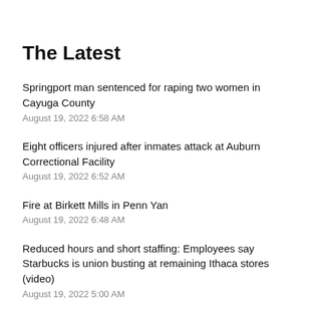The Latest
Springport man sentenced for raping two women in Cayuga County
August 19, 2022 6:58 AM
Eight officers injured after inmates attack at Auburn Correctional Facility
August 19, 2022 6:52 AM
Fire at Birkett Mills in Penn Yan
August 19, 2022 6:48 AM
Reduced hours and short staffing: Employees say Starbucks is union busting at remaining Ithaca stores (video)
August 19, 2022 5:00 AM